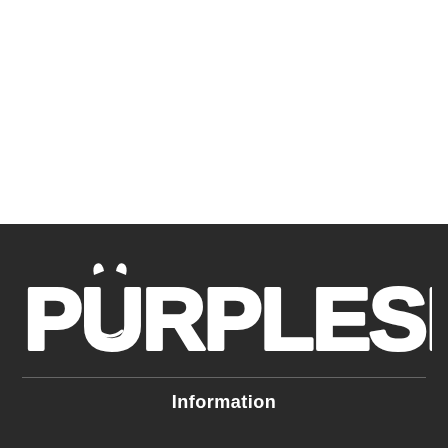[Figure (logo): PURPLESPOILZ logo in white chunky rounded text on dark background]
Information